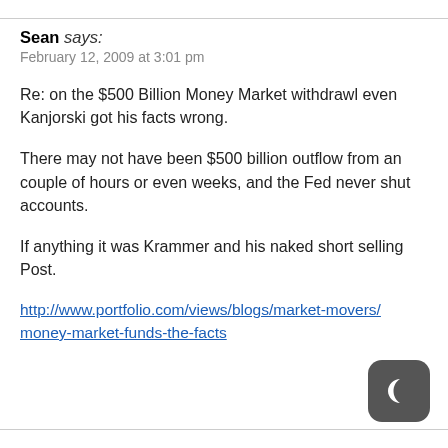Sean says: February 12, 2009 at 3:01 pm
Re: on the $500 Billion Money Market withdrawl even Kanjorski got his facts wrong.
There may not have been $500 billion outflow from an couple of hours or even weeks, and the Fed never shut accounts.
If anything it was Krammer and his naked short selling Post.
http://www.portfolio.com/views/blogs/market-movers/... money-market-funds-the-facts